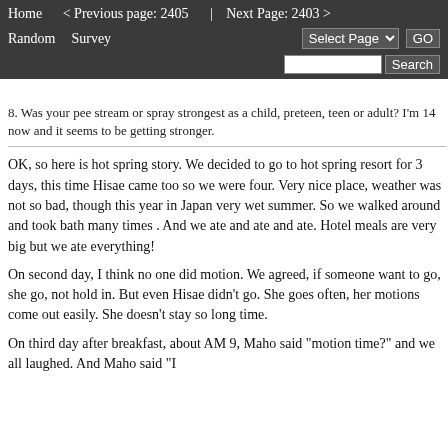Home   < Previous page: 2405  |  Next Page: 2403 >   Random   Survey   Select Page   GO   Search
8. Was your pee stream or spray strongest as a child, preteen, teen or adult? I'm 14 now and it seems to be getting stronger.
OK, so here is hot spring story. We decided to go to hot spring resort for 3 days, this time Hisae came too so we were four. Very nice place, weather was not so bad, though this year in Japan very wet summer. So we walked around and took bath many times . And we ate and ate and ate. Hotel meals are very big but we ate everything!
On second day, I think no one did motion. We agreed, if someone want to go, she go, not hold in. But even Hisae didn't go. She goes often, her motions come out easily. She doesn't stay so long time.
On third day after breakfast, about AM 9, Maho said "motion time?" and we all laughed. And Maho said "I